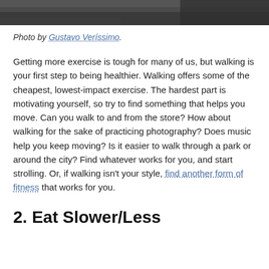[Figure (photo): Top portion of a photograph showing a street or pavement scene, cropped at the top of the page.]
Photo by Gustavo Veríssimo.
Getting more exercise is tough for many of us, but walking is your first step to being healthier. Walking offers some of the cheapest, lowest-impact exercise. The hardest part is motivating yourself, so try to find something that helps you move. Can you walk to and from the store? How about walking for the sake of practicing photography? Does music help you keep moving? Is it easier to walk through a park or around the city? Find whatever works for you, and start strolling. Or, if walking isn't your style, find another form of fitness that works for you.
2. Eat Slower/Less